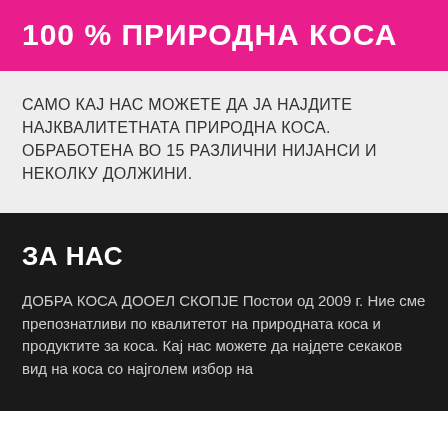100 % ПРИРОДНА КОСА
САМО КАЈ НАС МОЖЕТЕ ДА ЈА НАЈДИТЕ НАЈКВАЛИТЕТНАТА ПРИРОДНА КОСА. ОБРАБОТЕНА ВО 15 РАЗЛИЧНИ НИЈАНСИ И НЕКОЛКУ ДОЛЖИНИ.
ЗА НАС
ДОБРА КОСА ДООЕЛ СКОПЈЕ Постои од 2009 г. Ние сме препознатливи по квалитетот на природната коса и продуктите за коса. Кај нас можете да најдете секаков вид на коса со најголем избор на